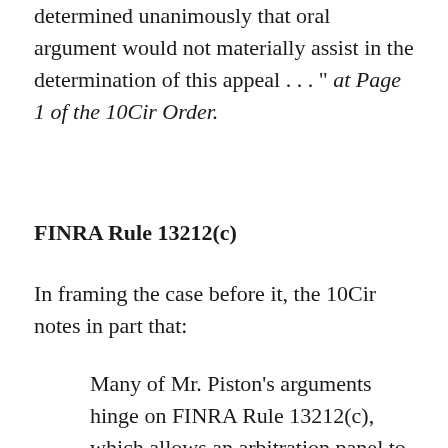determined unanimously that oral argument would not materially assist in the determination of this appeal . . . " at Page 1 of the 10Cir Order.
FINRA Rule 13212(c)
In framing the case before it, the 10Cir notes in part that:
Many of Mr. Piston's arguments hinge on FINRA Rule 13212(c), which allows an arbitration panel to dismiss a claim "with prejudice as a sanction for material and intentional failure to comply with an order of the panel if prior warnings or sanctions have proven ineffective." Mr. Piston asserts that he received neither a warning nor a sanction before the panel dismissed his claim. By dismissing his claim